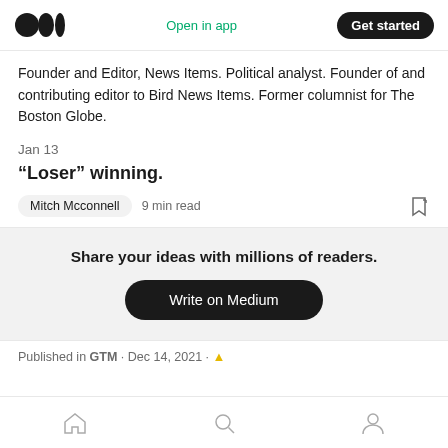Open in app  Get started
Founder and Editor, News Items. Political analyst. Founder of and contributing editor to Bird News Items. Former columnist for The Boston Globe.
Jan 13
“Loser” winning.
Mitch Mcconnell  9 min read
Share your ideas with millions of readers.
Write on Medium
Published in GTM · Dec 14, 2021 ·